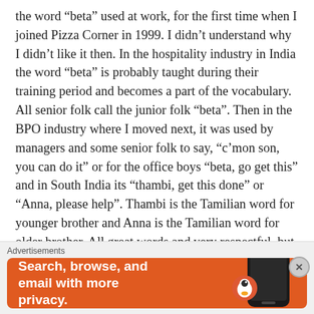the word “beta” used at work, for the first time when I joined Pizza Corner in 1999. I didn’t understand why I didn’t like it then. In the hospitality industry in India the word “beta” is probably taught during their training period and becomes a part of the vocabulary. All senior folk call the junior folk “beta”. Then in the BPO industry where I moved next, it was used by managers and some senior folk to say, “c’mon son, you can do it” or for the office boys “beta, go get this” and in South India its “thambi, get this done” or “Anna, please help”. Thambi is the Tamilian word for younger brother and Anna is the Tamilian word for older brother. All great words and very respectful, but here’s what’s wrong with them.
When you address someone as “beta” you don’t think of them as equal, mature young people, which is what they are. You don’t mean it badly, but then you struggle to deal with
Advertisements
[Figure (infographic): DuckDuckGo advertisement banner with orange background, bold white text reading 'Search, browse, and email with more privacy.' and a smartphone mockup on the right with the DuckDuckGo duck logo.]